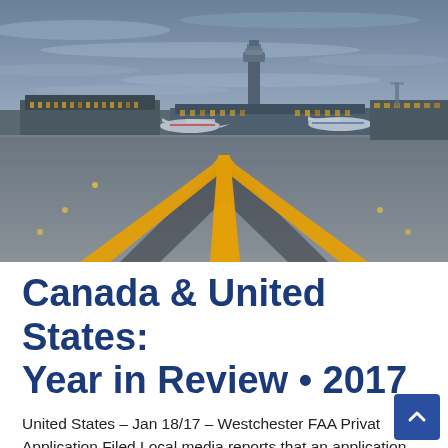[Figure (photo): Aerial view of an airport tarmac at dusk/dawn, with a yellow runway centerline and direction markings in the foreground, terminal buildings, an air traffic control tower, and parked aircraft in the background under a cloudy blue-grey sky.]
Canada & United States: Year in Review • 2017
United States – Jan 18/17 – Westchester FAA Privat... Application Filed Local media reports that an application